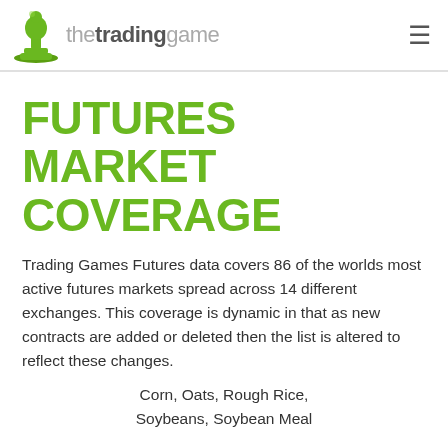thetradinggame
FUTURES MARKET COVERAGE
Trading Games Futures data covers 86 of the worlds most active futures markets spread across 14 different exchanges. This coverage is dynamic in that as new contracts are added or deleted then the list is altered to reflect these changes.
Corn, Oats, Rough Rice, Soybeans, Soybean Meal